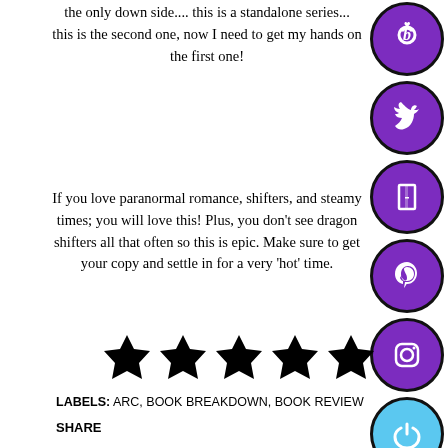the only down side.... this is a standalone series... this is the second one, now I need to get my hands on the first one!
If you love paranormal romance, shifters, and steamy times; you will love this! Plus, you don't see dragon shifters all that often so this is epic. Make sure to get your copy and settle in for a very 'hot' time.
[Figure (other): Five black star rating symbols]
LABELS: ARC, BOOK BREAKDOWN, BOOK REVIEW
SHARE
[Figure (other): Social media icons column on right side: Bloglovin (b with heart), Twitter, a window/door icon, Pinterest, Instagram, and a blue power/share button icon. All in purple circles with black borders except the last which is light blue.]